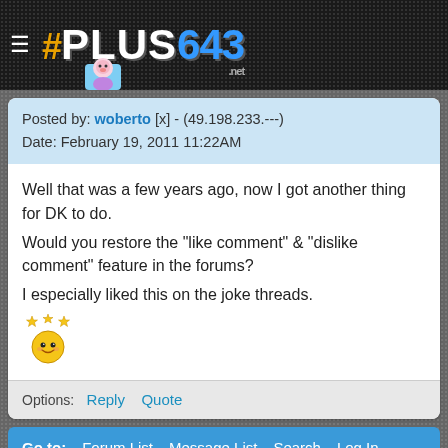#PLUS643.net
Posted by: woberto [x] - (49.198.233.---)
Date: February 19, 2011 11:22AM
Well that was a few years ago, now I got another thing for DK to do.
Would you restore the "like comment" & "dislike comment" feature in the forums?
I especially liked this on the joke threads.
Options:  Reply  Quote
Go to:  Forum List  Message List  Search  Log In
Your Name: